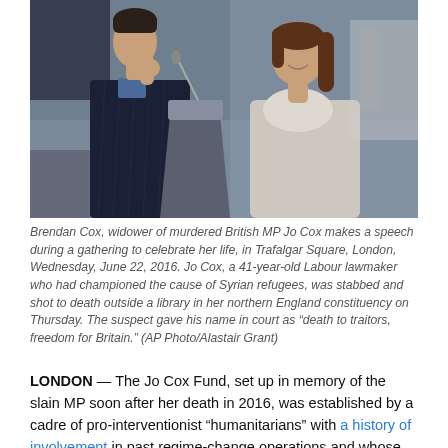[Figure (photo): Brendan Cox standing at a podium/lectern speaking, with a woman smiling beside him, outdoors at Trafalgar Square gathering.]
Brendan Cox, widower of murdered British MP Jo Cox makes a speech during a gathering to celebrate her life, in Trafalgar Square, London, Wednesday, June 22, 2016. Jo Cox, a 41-year-old Labour lawmaker who had championed the cause of Syrian refugees, was stabbed and shot to death outside a library in her northern England constituency on Thursday. The suspect gave his name in court as “death to traitors, freedom for Britain.” (AP Photo/Alastair Grant)
LONDON — The Jo Cox Fund, set up in memory of the slain MP soon after her death in 2016, was established by a cadre of pro-interventionist “humanitarians” with a history of involvement in past regime-change operations and whose connections to some of the world’s most ardent imperialists, as well as the Not for Profit Industrial